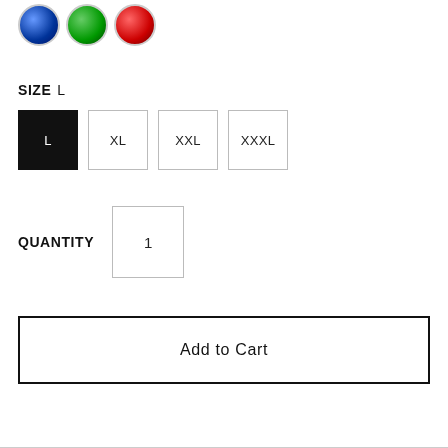[Figure (illustration): Three circular color swatch thumbnails showing garment colors: blue, green, and red]
SIZE  L
L (selected, black filled)
XL
XXL
XXXL
QUANTITY  1
Add to Cart